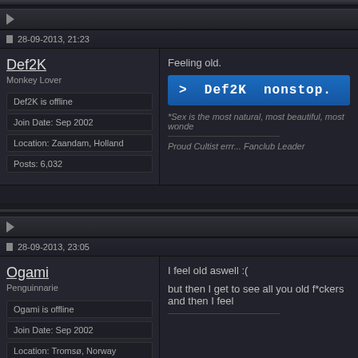28-09-2013, 21:23
Def2K
Monkey Lover
Def2K is offline
Join Date: Sep 2002
Location: Zaandam, Holland
Posts: 6,032
Feeling old.
> Def2K nonstop.
*Sex is the most natural, most beautiful, most wonde...
Proud Cultist errr... Fanclub Leader
28-09-2013, 23:05
Ogami
Penguinnarie
Ogami is offline
Join Date: Sep 2002
Location: Tromsø, Norway
I feel old aswell :(
but then I get to see all you old f*ckers and then I feel...